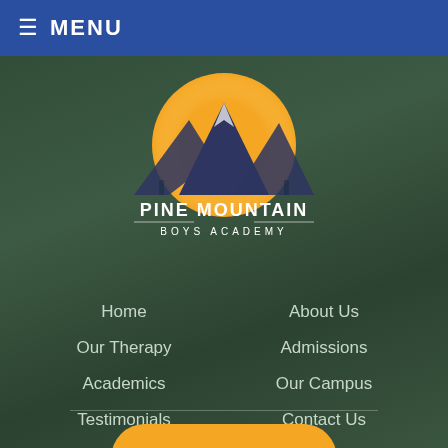☰ MENU
[Figure (logo): Pine Mountain Boys Academy logo: mountain silhouette with yellow sun/circle background, text 'PINE MOUNTAIN BOYS ACADEMY']
Home
About Us
Our Therapy
Admissions
Academics
Our Campus
Testimonials
Contact Us
DONATE
Charity License #85-8012640325C-4. 501c(3) charitable nonprofit organization. Gifts are tax-deductible as allowed by law. Teen Challenge Southeast • 15 W 19th